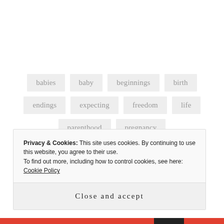babies
baby
beginnings
birth
endings
expecting
freedom
life
parenthood
pregnancy
[Figure (infographic): Horizontal divider line with orange circle in the center]
Privacy & Cookies: This site uses cookies. By continuing to use this website, you agree to their use.
To find out more, including how to control cookies, see here:
Cookie Policy
Close and accept